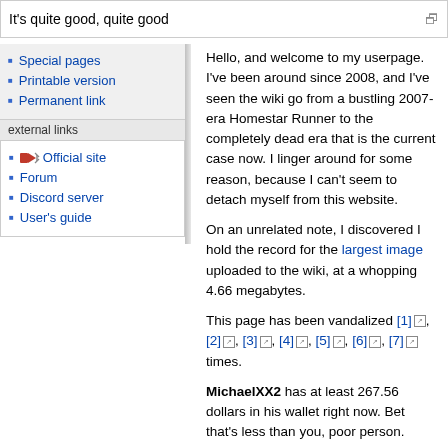It's quite good, quite good
Special pages
Printable version
Permanent link
external links
Official site
Forum
Discord server
User's guide
Hello, and welcome to my userpage. I've been around since 2008, and I've seen the wiki go from a bustling 2007-era Homestar Runner to the completely dead era that is the current case now. I linger around for some reason, because I can't seem to detach myself from this website.
On an unrelated note, I discovered I hold the record for the largest image uploaded to the wiki, at a whopping 4.66 megabytes.
This page has been vandalized [1], [2], [3], [4], [5], [6], [7] times.
MichaelXX2 has at least 267.56 dollars in his wallet right now. Bet that's less than you, poor person.
Contents [hide]
1 About me
2 Personal Stuff